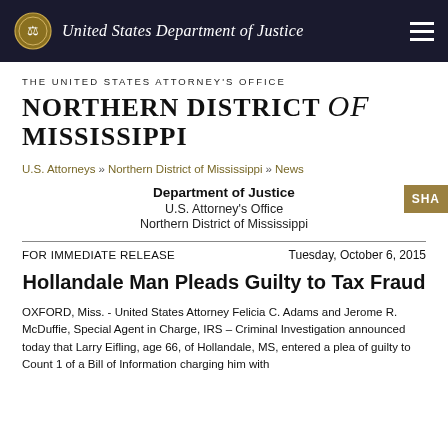United States Department of Justice
THE UNITED STATES ATTORNEY'S OFFICE
NORTHERN DISTRICT of MISSISSIPPI
U.S. Attorneys » Northern District of Mississippi » News
Department of Justice
U.S. Attorney's Office
Northern District of Mississippi
FOR IMMEDIATE RELEASE
Tuesday, October 6, 2015
Hollandale Man Pleads Guilty to Tax Fraud
OXFORD, Miss. - United States Attorney Felicia C. Adams and Jerome R. McDuffie, Special Agent in Charge, IRS – Criminal Investigation announced today that Larry Eifling, age 66, of Hollandale, MS, entered a plea of guilty to Count 1 of a Bill of Information charging him with